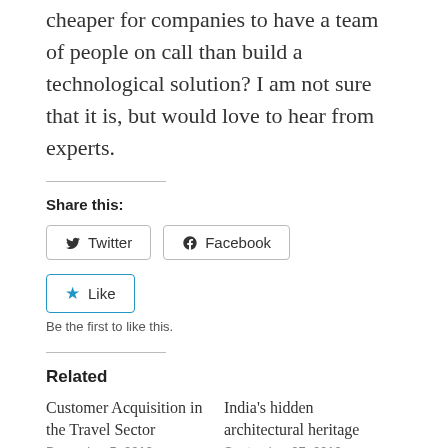cheaper for companies to have a team of people on call than build a technological solution? I am not sure that it is, but would love to hear from experts.
Share this:
Twitter   Facebook
Like
Be the first to like this.
Related
Customer Acquisition in the Travel Sector
December 5, 2019
In "Digital"
India's hidden architectural heritage
September 27, 2019
In "Heritage"